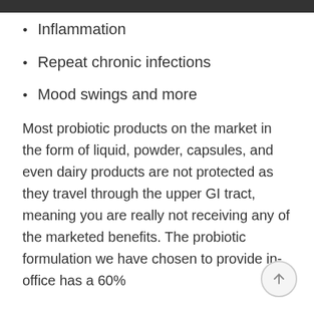Inflammation
Repeat chronic infections
Mood swings and more
Most probiotic products on the market in the form of liquid, powder, capsules, and even dairy products are not protected as they travel through the upper GI tract, meaning you are really not receiving any of the marketed benefits. The probiotic formulation we have chosen to provide in-office has a 60%